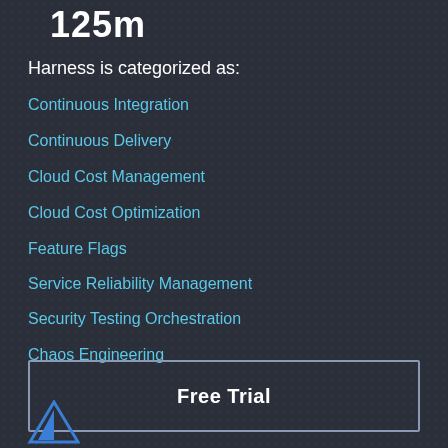125m
Harness is categorized as:
Continuous Integration
Continuous Delivery
Cloud Cost Management
Cloud Cost Optimization
Feature Flags
Service Reliability Management
Security Testing Orchestration
Chaos Engineering
Free Trial
[Figure (logo): Blue triangle/mountain logo icon at bottom left]